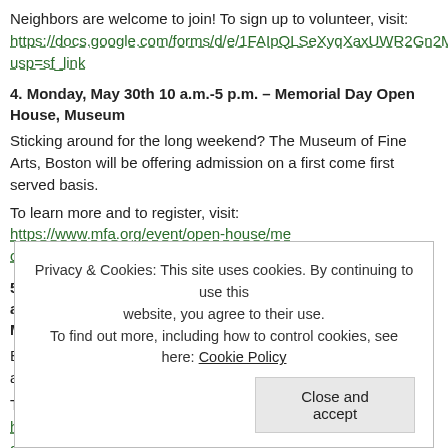Neighbors are welcome to join! To sign up to volunteer, visit: https://docs.google.com/forms/d/e/1FAIpQLSeXyqXaxUWR2Gn2Mn4hhlQD9M.../usp=sf_link
4. Monday, May 30th 10 a.m.-5 p.m. – Memorial Day Open House, Museum of Fine Arts
Sticking around for the long weekend? The Museum of Fine Arts, Boston will be offering free admission on a first come first served basis.
To learn more and to register, visit: https://www.mfa.org/event/open-house/me.../open-house?event=3182
5. Monday, May 30th 11 a.m.-4 p.m. – Frank Hatch Free Day at Isabella Stewart Gardner Museum
Bring family and friends for a free day of art making, music, art, and more!
To register, visit: https://www.gardnermuseum.org/calendar/frank-hatch-free-day.../day-20220530
And save the date for these events ahead.
Privacy & Cookies: This site uses cookies. By continuing to use this website, you agree to their use. To find out more, including how to control cookies, see here: Cookie Policy
Close and accept